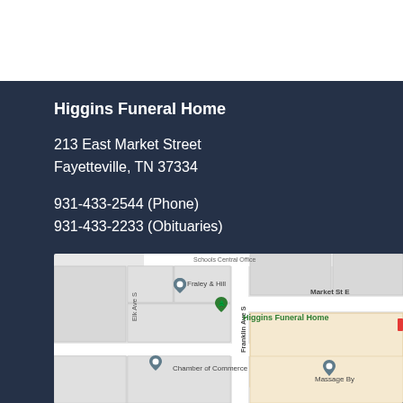Higgins Funeral Home
213 East Market Street
Fayetteville, TN 37334
931-433-2544 (Phone)
931-433-2233 (Obituaries)
[Figure (map): Google Maps screenshot showing Higgins Funeral Home at 213 East Market Street, Fayetteville, TN. Map shows nearby landmarks including Fraley & Hill, Chamber of Commerce, Franklin Ave S, Market St E, Elk Ave S, Schools Central Office, and Massage By.]